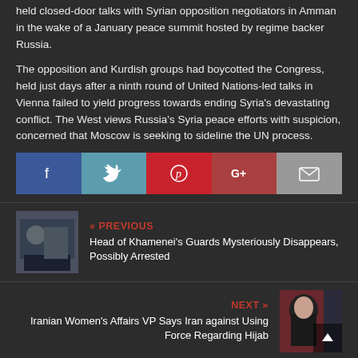held closed-door talks with Syrian opposition negotiators in Amman in the wake of a January peace summit hosted by regime backer Russia.
The opposition and Kurdish groups had boycotted the Congress, held just days after a ninth round of United Nations-led talks in Vienna failed to yield progress towards ending Syria's devastating conflict. The West views Russia's Syria peace efforts with suspicion, concerned that Moscow is seeking to sideline the UN process.
[Figure (other): Social media sharing buttons: Facebook, Twitter, Pinterest, Google+, Email]
[Figure (photo): Thumbnail image for previous article about Head of Khamenei's Guards]
« PREVIOUS
Head of Khamenei's Guards Mysteriously Disappears, Possibly Arrested
NEXT »
Iranian Women's Affairs VP Says Iran against Using Force Regarding Hijab
[Figure (photo): Thumbnail image for next article about Iranian Women's Affairs VP]